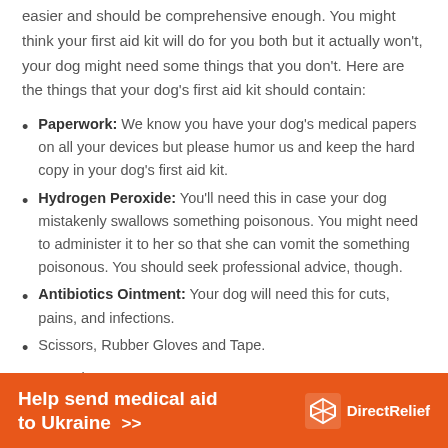easier and should be comprehensive enough. You might think your first aid kit will do for you both but it actually won't, your dog might need some things that you don't. Here are the things that your dog's first aid kit should contain:
Paperwork: We know you have your dog's medical papers on all your devices but please humor us and keep the hard copy in your dog's first aid kit.
Hydrogen Peroxide: You'll need this in case your dog mistakenly swallows something poisonous. You might need to administer it to her so that she can vomit the something poisonous. You should seek professional advice, though.
Antibiotics Ointment: Your dog will need this for cuts, pains, and infections.
Scissors, Rubber Gloves and Tape.
Wet Wipes
[Figure (infographic): Orange banner ad reading 'Help send medical aid to Ukraine >>' with DirectRelief logo on the right]